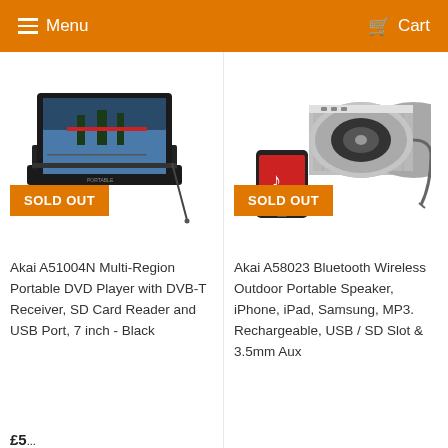Menu  Cart
[Figure (photo): Akai A51004N portable DVD player with screen open showing an image, with an antenna and SD card slot visible. Sold Out badge displayed.]
[Figure (photo): Akai A58023 Bluetooth wireless outdoor portable speaker, cylindrical silver design, with a smartphone placed next to it. Sold Out badge displayed.]
Akai A51004N Multi-Region Portable DVD Player with DVB-T Receiver, SD Card Reader and USB Port, 7 inch - Black
Akai A58023 Bluetooth Wireless Outdoor Portable Speaker, iPhone, iPad, Samsung, MP3. Rechargeable, USB / SD Slot & 3.5mm Aux